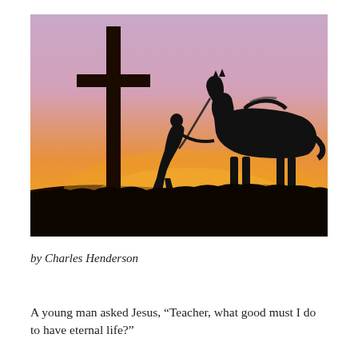[Figure (photo): Silhouette of a cowboy kneeling in prayer at a large wooden cross at sunset, with a saddled horse standing nearby. The sky transitions from purple/pink at the top to vivid orange/yellow near the horizon.]
by Charles Henderson
A young man asked Jesus, “Teacher, what good must I do to have eternal life?”